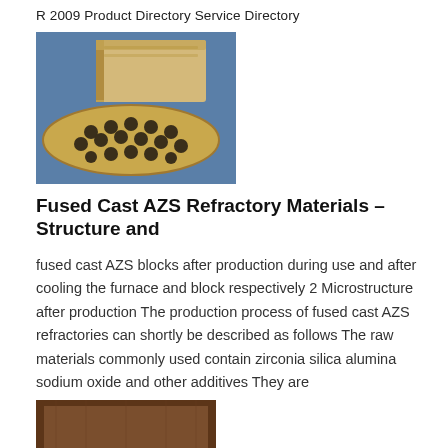R 2009 Product Directory Service Directory
[Figure (photo): Photo of fused cast AZS refractory blocks: a rectangular block and a honeycomb-patterned flat piece, placed on a blue surface]
Fused Cast AZS Refractory Materials – Structure and
fused cast AZS blocks after production during use and after cooling the furnace and block respectively 2 Microstructure after production The production process of fused cast AZS refractories can shortly be described as follows The raw materials commonly used contain zirconia silica alumina sodium oxide and other additives They are
[Figure (photo): Partial photo of a brown refractory block at the bottom of the page]